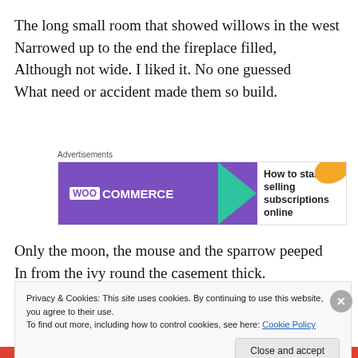The long small room that showed willows in the west
Narrowed up to the end the fireplace filled,
Although not wide. I liked it. No one guessed
What need or accident made them so build.
[Figure (other): WooCommerce advertisement banner: purple left panel with WooCommerce logo, green arrow, white right panel with text 'How to start selling subscriptions online', orange decorative blob]
Only the moon, the mouse and the sparrow peeped
In from the ivy round the casement thick.
Privacy & Cookies: This site uses cookies. By continuing to use this website, you agree to their use.
To find out more, including how to control cookies, see here: Cookie Policy
Close and accept